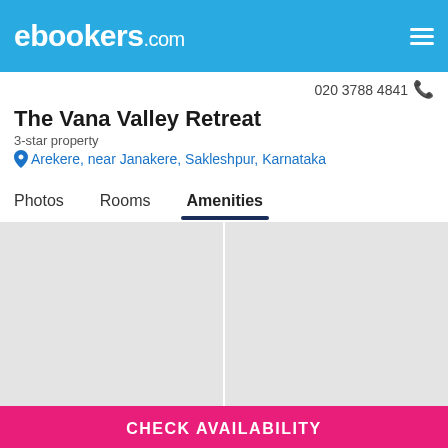ebookers.com
020 3788 4841
The Vana Valley Retreat
3-star property
Arekere, near Janakere, Sakleshpur, Karnataka
Photos  Rooms  Amenities
[Figure (photo): Two placeholder hotel photo thumbnails side by side]
CHECK AVAILABILITY
See More